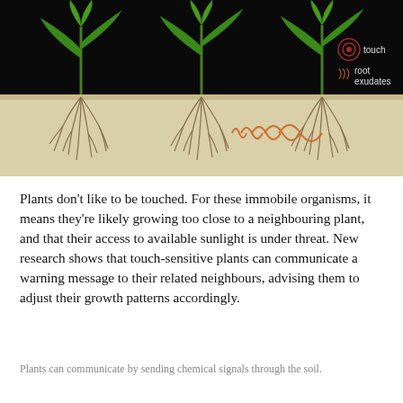[Figure (illustration): Scientific illustration showing three green plants above ground on a black background, with root systems visible below soil level on a beige/tan background. Orange wave signals (root exudates) are shown emanating from the middle plant's roots toward the right plant's roots. A legend in the upper right shows a target/bullseye icon labeled 'touch' and orange chevrons labeled 'root exudates'.]
Plants don't like to be touched. For these immobile organisms, it means they're likely growing too close to a neighbouring plant, and that their access to available sunlight is under threat. New research shows that touch-sensitive plants can communicate a warning message to their related neighbours, advising them to adjust their growth patterns accordingly.
Plants can communicate by sending chemical signals through the soil.